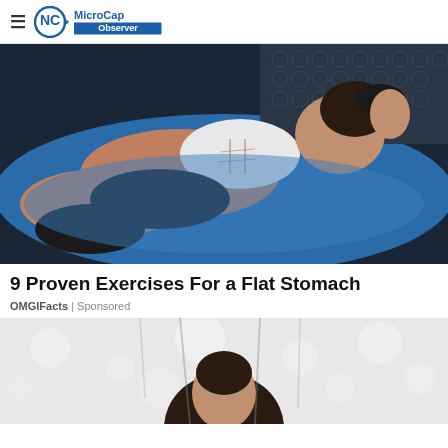≡ MicroCap Observer
[Figure (photo): Fitness woman with defined abs lying on a blue yoga mat, wearing white sports top and black shorts, photographed from above in a gym setting]
9 Proven Exercises For a Flat Stomach
OMGIFacts | Sponsored
[Figure (photo): Partial view of a person at what appears to be a gym or outdoor setting, cropped at bottom of page]